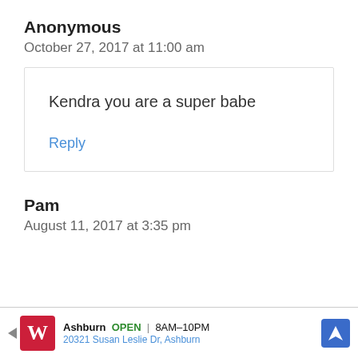Anonymous
October 27, 2017 at 11:00 am
Kendra you are a super babe
Reply
Pam
August 11, 2017 at 3:35 pm
Ashburn OPEN 8AM–10PM 20321 Susan Leslie Dr, Ashburn